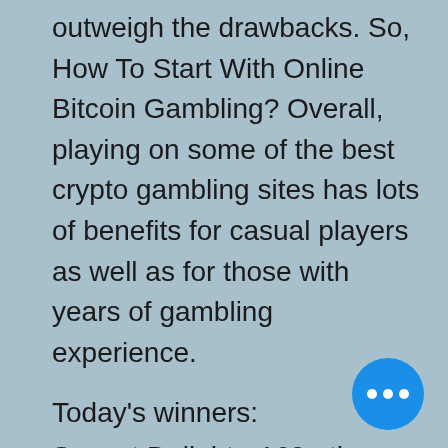outweigh the drawbacks. So, How To Start With Online Bitcoin Gambling? Overall, playing on some of the best crypto gambling sites has lots of benefits for casual players as well as for those with years of gambling experience.
Today's winners:
Sunset Delight - 163 eth
SteamPunk Big City - 31.1 ltc
Captain Shark - 295.5 eth
The Great Wall Treasure - 307.6 usdt
Jurassic Island - 345.2 dog
The Lab - 651 dog
Magic Crystals - 521.1 btc
Diamonds Downunder - 448.5 usdt
Triple Magic - 177.4 ltc
Magic Book - 286.8 btc
Billyonaire - 186.3 eth
Bachelorette Party - 569.9 bch
Kamchatka - 288.3 ltc